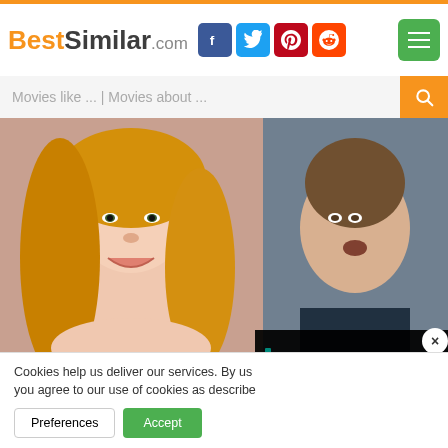BestSimilar.com
Movies like ... | Movies about ...
[Figure (photo): Collage of movie actors and actresses: blonde woman smiling, man looking surprised, brunette woman smiling, two smaller portraits of a dark-haired woman and a young man]
Cookies help us deliver our services. By us you agree to our use of cookies as describe
Preferences
Accept